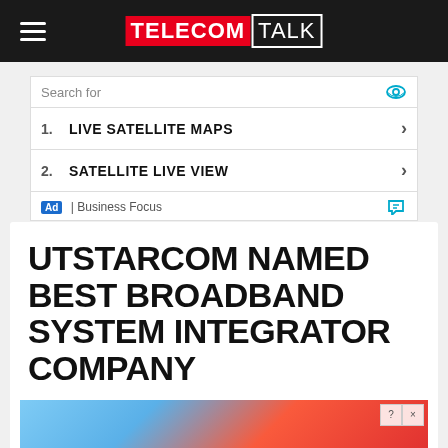TELECOMTALK
[Figure (screenshot): Advertisement box with search items: 1. LIVE SATELLITE MAPS, 2. SATELLITE LIVE VIEW, labeled as Business Focus]
UTSTARCOM NAMED BEST BROADBAND SYSTEM INTEGRATOR COMPANY
Reported By TUSHAR SHARMA | JULY 27TH, 2009 AT 04:21 PM | 2 comments
[Figure (illustration): Colorful game advertisement banner at the bottom]